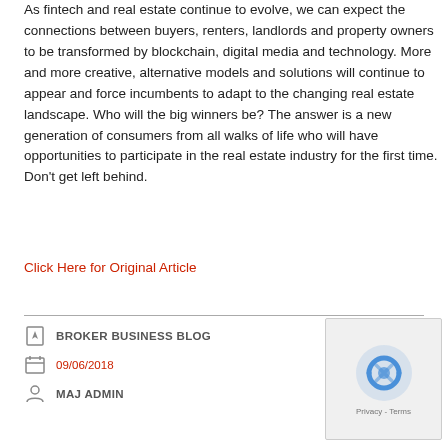As fintech and real estate continue to evolve, we can expect the connections between buyers, renters, landlords and property owners to be transformed by blockchain, digital media and technology. More and more creative, alternative models and solutions will continue to appear and force incumbents to adapt to the changing real estate landscape. Who will the big winners be? The answer is a new generation of consumers from all walks of life who will have opportunities to participate in the real estate industry for the first time. Don’t get left behind.
Click Here for Original Article
BROKER BUSINESS BLOG | 09/06/2018 | MAJ ADMIN